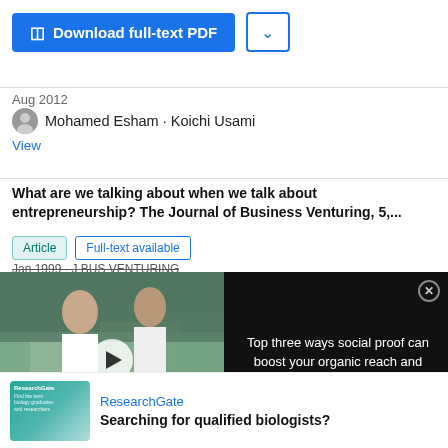[Figure (screenshot): Download full-text PDF button (blue) with dropdown chevron button]
Aug 2012
Mohamed Esham · Koichi Usami
View
What are we talking about when we talk about entrepreneurship? The Journal of Business Venturing, 5,...
Article   Full-text available
Jan 1999 · J BUS VENTURING
[Figure (screenshot): Video overlay split: left side shows lab photo thumbnail with play button and text 'TOP THREE WAYS ... PROOF CAN BOOST YOUR ORGANIC R... AND ENGAGEMENT'; right side black panel with text 'Top three ways social proof can boost your organic reach and engagement' and close button]
[Figure (screenshot): ResearchGate advertisement: teal image left, ResearchGate brand name and text 'Searching for qualified biologists?']